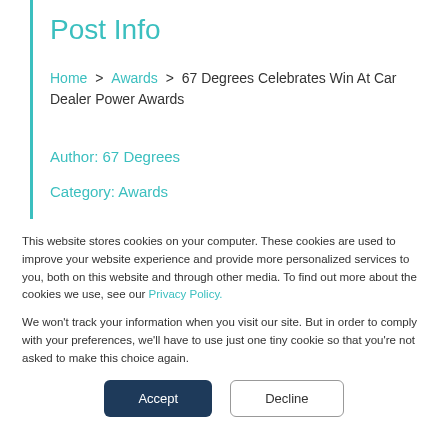Post Info
Home > Awards > 67 Degrees Celebrates Win At Car Dealer Power Awards
Author: 67 Degrees
Category: Awards
This website stores cookies on your computer. These cookies are used to improve your website experience and provide more personalized services to you, both on this website and through other media. To find out more about the cookies we use, see our Privacy Policy.
We won't track your information when you visit our site. But in order to comply with your preferences, we'll have to use just one tiny cookie so that you're not asked to make this choice again.
Accept
Decline